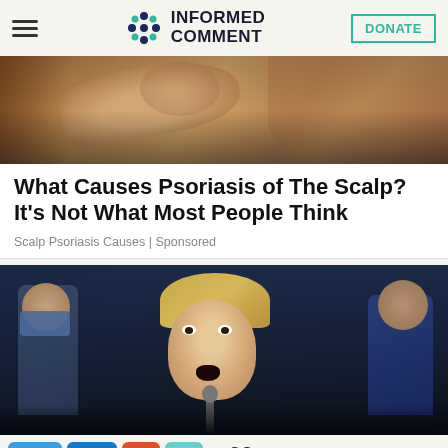INFORMED COMMENT
[Figure (photo): Close-up photo of a hand touching hair/scalp, used as advertisement image for scalp psoriasis article]
What Causes Psoriasis of The Scalp? It's Not What Most People Think
Scalp Psoriasis Causes | Sponsored
[Figure (photo): Photo of a young woman speaking into a microphone at what appears to be a public event or protest, surrounded by crowd members including someone wearing a blue mask]
32  67  99 SHARES